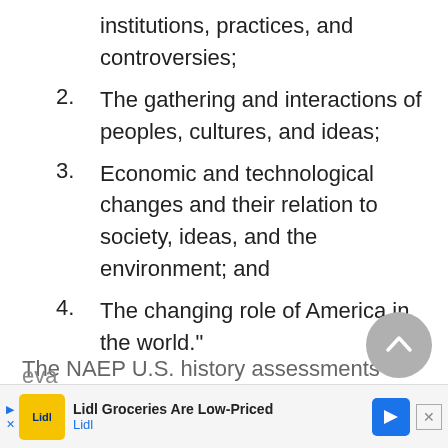institutions, practices, and controversies;
2. The gathering and interactions of peoples, cultures, and ideas;
3. Economic and technological changes and their relation to society, ideas, and the environment; and
4. The changing role of America in the world."
The NAEP U.S. history assessments eva...